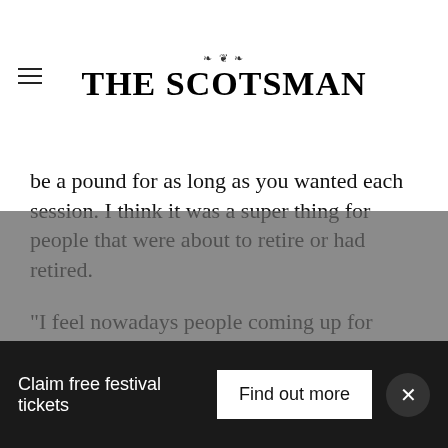THE SCOTSMAN
be a pound for as long as you wanted each session. I think it was a super thing for people that were about to retire or had retired.
“I feel nowadays people coming up for retiral will think I really can’t afford that and could use the money to go on holiday instead.
“It’s sad, especially when doctors and the NHS tell us we should be getting out there and keeping fit. My wife goes to the gym as
Claim free festival tickets
Find out more